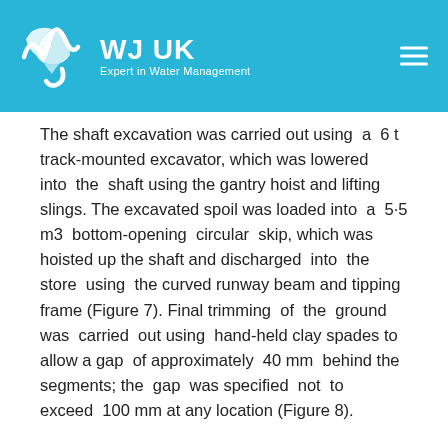WJ UK – Expert in Water Management
The shaft excavation was carried out using a 6 t track-mounted excavator, which was lowered into the shaft using the gantry hoist and lifting slings. The excavated spoil was loaded into a 5·5 m3 bottom-opening circular skip, which was hoisted up the shaft and discharged into the store using the curved runway beam and tipping frame (Figure 7). Final trimming of the ground was carried out using hand-held clay spades to allow a gap of approximately 40 mm behind the segments; the gap was specified not to exceed 100 mm at any location (Figure 8).
Only sufficient depth of ground at the formation was excavated in order to allow the building of the segments. This was generally kept to a maximum of 200 mm below the